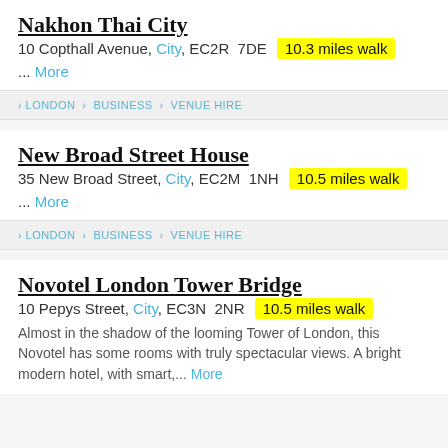Nakhon Thai City
10 Copthall Avenue, City, EC2R 7DE  10.3 miles walk
... More
LONDON › BUSINESS › VENUE HIRE
New Broad Street House
35 New Broad Street, City, EC2M 1NH  10.5 miles walk
... More
LONDON › BUSINESS › VENUE HIRE
Novotel London Tower Bridge
10 Pepys Street, City, EC3N 2NR  10.5 miles walk
Almost in the shadow of the looming Tower of London, this Novotel has some rooms with truly spectacular views. A bright modern hotel, with smart,... More